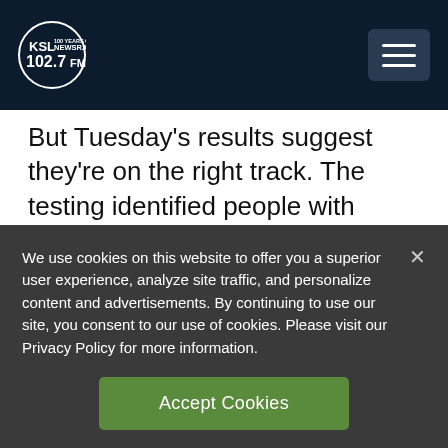KSL NewsRadio 102.7FM
But Tuesday’s results suggest they’re on the right track. The testing identified people with Alzheimer’s vs. no dementia or other types of it with accuracy ranging from 89% to 98%.
“That’s pretty good. We’ve never seen that”
We use cookies on this website to offer you a superior user experience, analyze site traffic, and personalize content and advertisements. By continuing to use our site, you consent to our use of cookies. Please visit our Privacy Policy for more information.
Accept Cookies